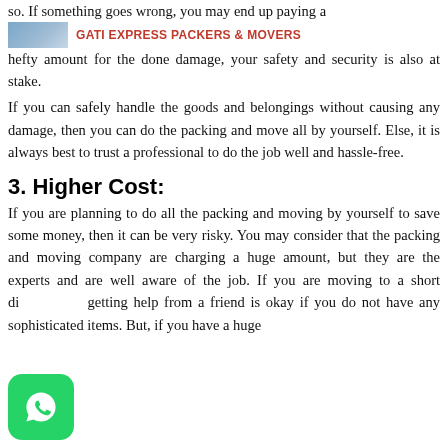so. If something goes wrong, you may end up paying a hefty amount for the done damage, your safety and security is also at stake.
[Figure (logo): GATI EXPRESS PACKERS & MOVERS logo with blue image on left and red brand text]
If you can safely handle the goods and belongings without causing any damage, then you can do the packing and move all by yourself. Else, it is always best to trust a professional to do the job well and hassle-free.
3. Higher Cost:
If you are planning to do all the packing and moving by yourself to save some money, then it can be very risky. You may consider that the packing and moving company are charging a huge amount, but they are the experts and are well aware of the job. If you are moving to a short di getting help from a friend is okay if you do not have any sophisticated items. But, if you have a huge
[Figure (logo): WhatsApp icon, green rounded square with phone handset]